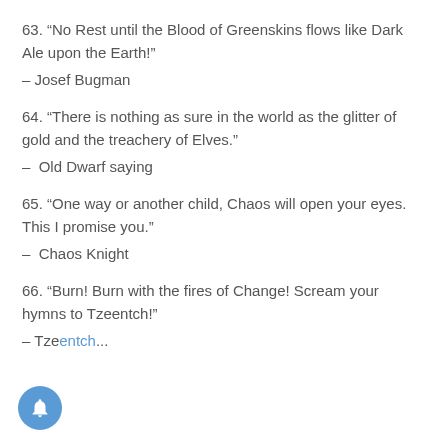63. “No Rest until the Blood of Greenskins flows like Dark Ale upon the Earth!”
– Josef Bugman
64. “There is nothing as sure in the world as the glitter of gold and the treachery of Elves.”
–  Old Dwarf saying
65. “One way or another child, Chaos will open your eyes. This I promise you.”
–  Chaos Knight
66. “Burn! Burn with the fires of Change! Scream your hymns to Tzeentch!”
– Tzeentch...